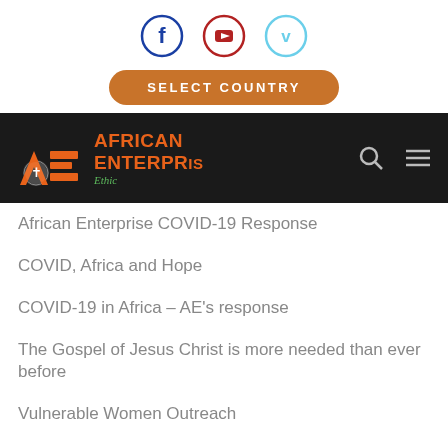[Figure (logo): Social media icons: Facebook (blue circle), YouTube (red circle), Vimeo (light blue circle)]
[Figure (other): SELECT COUNTRY button with orange rounded pill shape]
[Figure (logo): African Enterprise logo with orange AE icon and text 'AFRICAN ENTERPRISE' in orange, 'Ethic' in green italic, on black navigation bar with search and hamburger menu icons]
African Enterprise COVID-19 Response
COVID, Africa and Hope
COVID-19 in Africa – AE's response
The Gospel of Jesus Christ is more needed than ever before
Vulnerable Women Outreach
Being Salt and light in the most difficult circumstances
The Importance of Prayer in Mission: Kampala